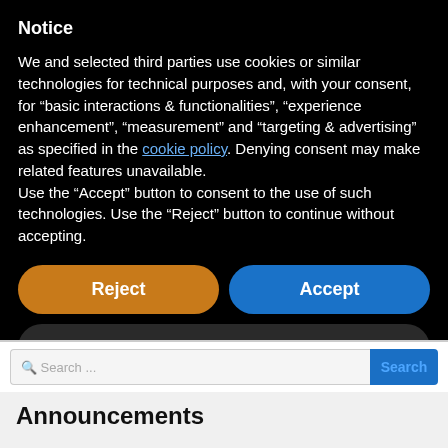Notice
We and selected third parties use cookies or similar technologies for technical purposes and, with your consent, for “basic interactions & functionalities”, “experience enhancement”, “measurement” and “targeting & advertising” as specified in the cookie policy. Denying consent may make related features unavailable.
Use the “Accept” button to consent to the use of such technologies. Use the “Reject” button to continue without accepting.
Reject
Accept
Learn more and customize
Search ...
Announcements